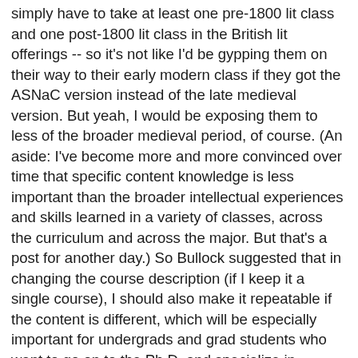simply have to take at least one pre-1800 lit class and one post-1800 lit class in the British lit offerings -- so it's not like I'd be gypping them on their way to their early modern class if they got the ASNaC version instead of the late medieval version. But yeah, I would be exposing them to less of the broader medieval period, of course. (An aside: I've become more and more convinced over time that specific content knowledge is less important than the broader intellectual experiences and skills learned in a variety of classes, across the curriculum and across the major. But that's a post for another day.) So Bullock suggested that in changing the course description (if I keep it a single course), I should also make it repeatable if the content is different, which will be especially important for undergrads and grad students who want to go on to the Ph.D. and specialize in medieval literature -- it will actually give them *more* instruction in the field. I'm now also thinking that I want to keep the option of doing the whole 800-year shebang so that if I want to do a thematic course across the period, I can. Plus, we all know how porous that 1066 boundary is. Finally, I want to be able to throw a bit of Chaucer in there if I want. This "excluding Chaucer" business is putty, especially since it's not like